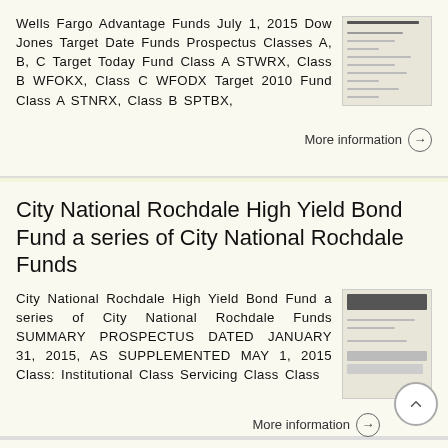Wells Fargo Advantage Funds July 1, 2015 Dow Jones Target Date Funds Prospectus Classes A, B, C Target Today Fund Class A STWRX, Class B WFOKX, Class C WFODX Target 2010 Fund Class A STNRX, Class B SPTBX,
More information →
City National Rochdale High Yield Bond Fund a series of City National Rochdale Funds
City National Rochdale High Yield Bond Fund a series of City National Rochdale Funds SUMMARY PROSPECTUS DATED JANUARY 31, 2015, AS SUPPLEMENTED MAY 1, 2015 Class: Institutional Class Servicing Class Class
More information →